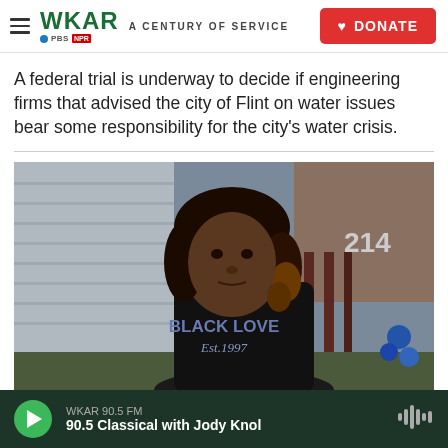WKAR A CENTURY OF SERVICE | DONATE
A federal trial is underway to decide if engineering firms that advised the city of Flint on water issues bear some responsibility for the city's water crisis.
[Figure (photo): Woman wearing a black t-shirt reading 'BLACK LOVE Est.1997' standing in front of a house with the number 214 visible]
WKAR 90.5 FM | 90.5 Classical with Jody Knol